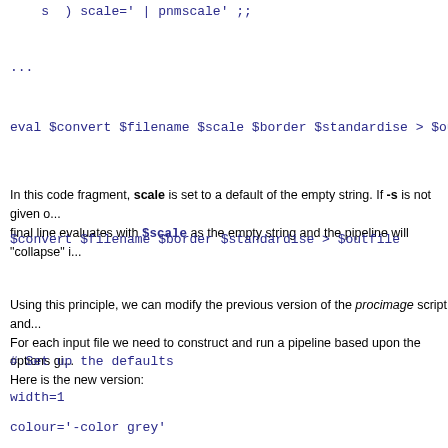s  ) scale=' | pnmscale' ;;
...
eval $convert $filename $scale $border $standardise > $ou
In this code fragment, scale is set to a default of the empty string. If -s is not given o... final line evaluates with $scale as the empty string and the pipeline will "collapse" i...
$convert $filename $border $standardise > $outfile
Using this principle, we can modify the previous version of the procimage script and... For each input file we need to construct and run a pipeline based upon the options gi... Here is the new version:
# Set up the defaults
width=1
colour='-color grey'